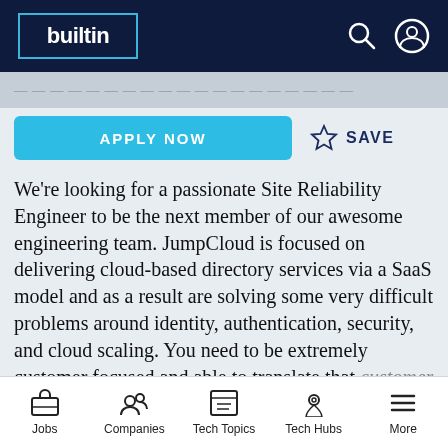builtin [logo/nav bar]
[partially visible heading text - faded]
APPLY NOW | ☆ SAVE
We're looking for a passionate Site Reliability Engineer to be the next member of our awesome engineering team. JumpCloud is focused on delivering cloud-based directory services via a SaaS model and as a result are solving some very difficult problems around identity, authentication, security, and cloud scaling. You need to be extremely customer focused and able to translate that customer experience into influence with
Jobs | Companies | Tech Topics | Tech Hubs | More